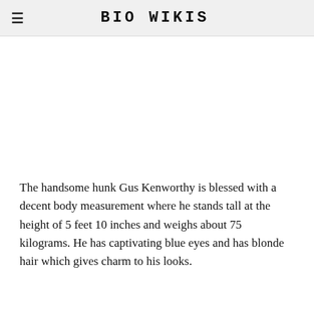BIO WIKIS
[Figure (other): Advertisement or blank image area]
The handsome hunk Gus Kenworthy is blessed with a decent body measurement where he stands tall at the height of 5 feet 10 inches and weighs about 75 kilograms. He has captivating blue eyes and has blonde hair which gives charm to his looks.